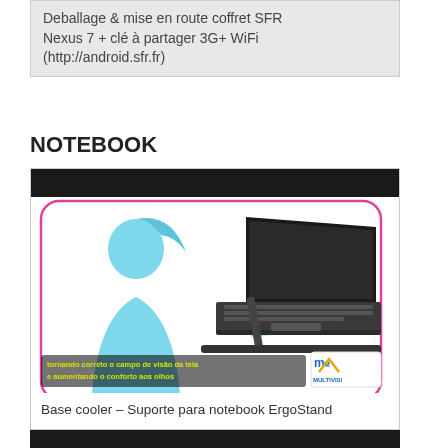Deballage & mise en route coffret SFR Nexus 7 + clé à partager 3G+ WiFi (http://android.sfr.fr)
NOTEBOOK
[Figure (photo): Product image of a notebook cooler stand (ErgoStand by Multivisi) with a silhouette of a person looking at a laptop screen, and text in Portuguese: 'tornando correto o campo de visão da tela e aumentando o conforto aos olhos']
Base cooler – Suporte para notebook ErgoStand